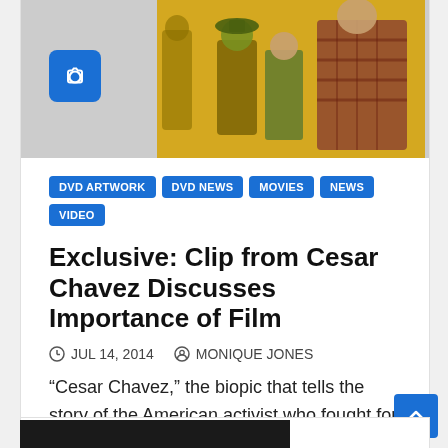[Figure (photo): Movie promotional image for Cesar Chavez film with yellow background showing group of people, alongside a camera icon on blue square]
DVD ARTWORK
DVD NEWS
MOVIES
NEWS
VIDEO
Exclusive: Clip from Cesar Chavez Discusses Importance of Film
JUL 14, 2014   MONIQUE JONES
“Cesar Chavez,” the biopic that tells the story of the American activist who fought for reform, is coming to Blu-ray…